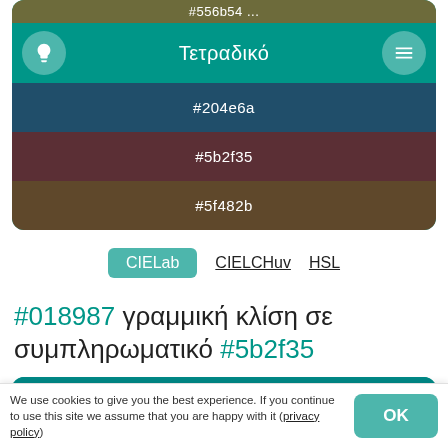[Figure (screenshot): Color palette app showing Τετραδικό (Tetradiko) color scheme with hex codes #204e6a, #5b2f35, #5f482b on teal background]
CIELab   CIELCHuv   HSL
#018987 γραμμική κλίση σε συμπληρωματικό #5b2f35
[Figure (screenshot): Color gradient swatches showing #018987, #347a78, #466c6a]
We use cookies to give you the best experience. If you continue to use this site we assume that you are happy with it (privacy policy)